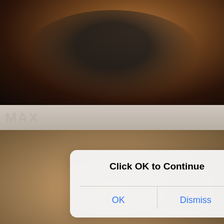[Figure (screenshot): Screenshot showing a mobile browser with adult content images overlaid by an iOS-style alert dialog reading 'Click OK to Continue' with OK and Dismiss buttons]
Click OK to Continue
OK
Dismiss